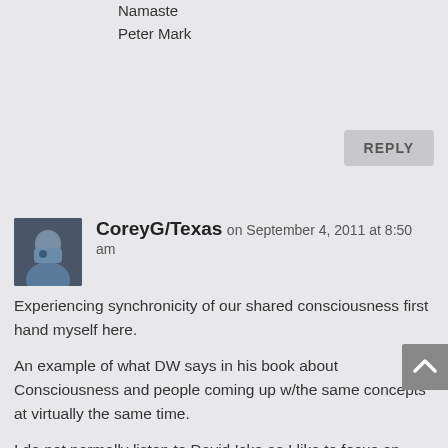Namaste
Peter Mark
REPLY
CoreyG/Texas on September 4, 2011 at 8:50 am
Experiencing synchronicity of our shared consciousness first hand myself here.
An example of what DW says in his book about Consciousness and people coming up w/the same concepts at virtually the same time.
I do not normally listen to David Icke as I like to focus on positive info... but this blew me away.
I have been reading DW's book and some of this presentation is almost right out of the book in order as if DI had an advanced copy of DW's book.
Consciousness is extremely strong indeed.